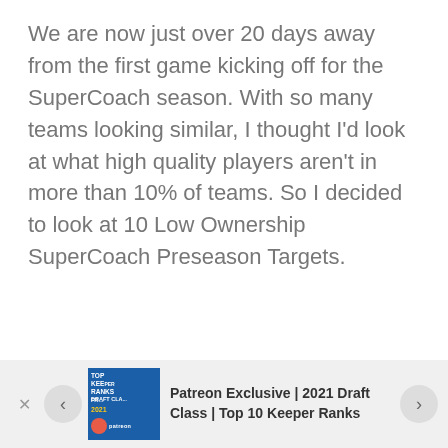We are now just over 20 days away from the first game kicking off for the SuperCoach season. With so many teams looking similar, I thought I'd look at what high quality players aren't in more than 10% of teams. So I decided to look at 10 Low Ownership SuperCoach Preseason Targets.
[Figure (illustration): Thumbnail image for Patreon Exclusive article about 2021 Draft Class Top 10 Keeper Ranks, with blue background and Patreon logo]
Patreon Exclusive | 2021 Draft Class | Top 10 Keeper Ranks